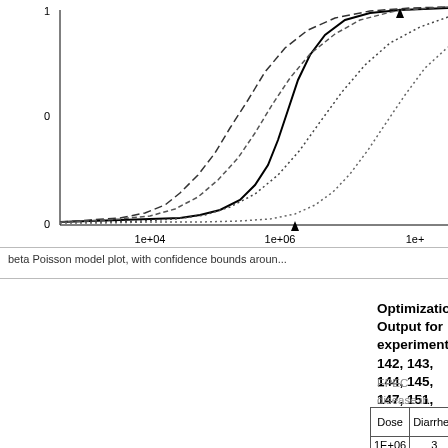[Figure (continuous-plot): Dose-response curve (beta Poisson model) showing probability of infection vs dose on log scale. Multiple curves shown: solid line, dashed lines, and dotted lines representing different model fits or confidence bounds. X-axis: Dose (1e+04, 1e+06, 1e+08). Y-axis ranges from 0.0 to 1.0 (partially visible). A triangle marker is visible on one of the curves.]
beta Poisson model plot, with confidence bounds aroun...
Optimization Output for experiment 142, 143, 144, 145, 147, 151, 161, 162, 163, 164, 168, 169, 170, 172
EPEC disease in the human model data [17]
| Dose | Diarrhea | No diarrhea | Total |
| --- | --- | --- | --- |
| 1E+06 | 3 | 3 | 6 |
| 1E+07 | 6 | 9 | 15 |
| 1E+08 | 6 | 1 | 7 |